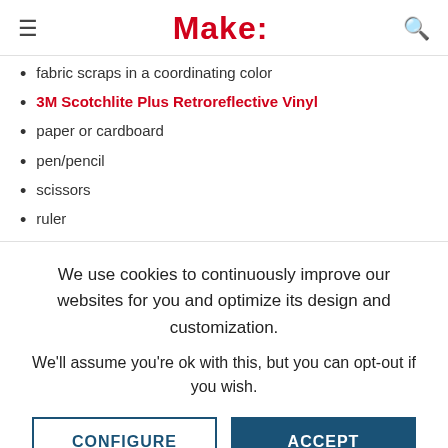Make:
fabric scraps in a coordinating color
3M Scotchlite Plus Retroreflective Vinyl
paper or cardboard
pen/pencil
scissors
ruler
We use cookies to continuously improve our websites for you and optimize its design and customization. We'll assume you're ok with this, but you can opt-out if you wish.
CONFIGURE | ACCEPT